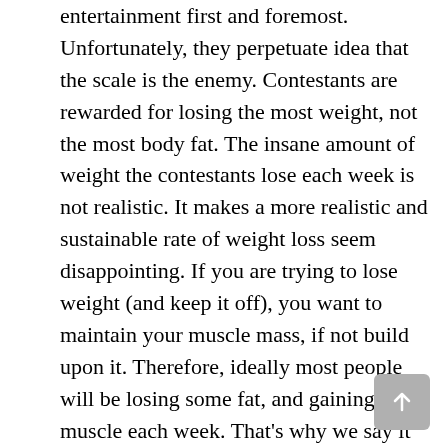entertainment first and foremost. Unfortunately, they perpetuate idea that the scale is the enemy. Contestants are rewarded for losing the most weight, not the most body fat. The insane amount of weight the contestants lose each week is not realistic. It makes a more realistic and sustainable rate of weight loss seem disappointing. If you are trying to lose weight (and keep it off), you want to maintain your muscle mass, if not build upon it. Therefore, ideally most people will be losing some fat, and gaining some muscle each week. That's why we say it is safe and most effective to lose 1-2 pounds each week...not 25. You have to take a gradual approach to weight loss if you want the results to be long lasting. Remember it's a